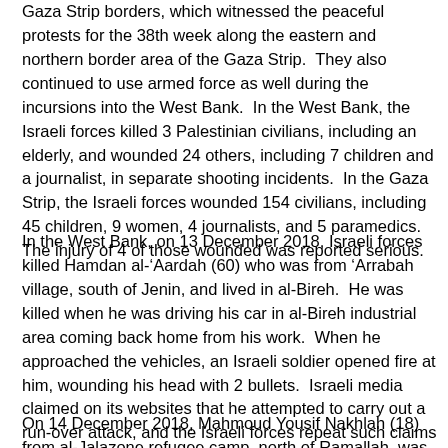Gaza Strip borders, which witnessed the peaceful protests for the 38th week along the eastern and northern border area of the Gaza Strip.  They also continued to use armed force as well during the incursions into the West Bank.  In the West Bank, the Israeli forces killed 3 Palestinian civilians, including an elderly, and wounded 24 others, including 7 children and a journalist, in separate shooting incidents.  In the Gaza Strip, the Israeli forces wounded 154 civilians, including 45 children, 9 women, 4 journalists, and 5 paramedics.  The injury of 4 of those wounded was reported serious.
In the West Bank, on 13 December 2018, Israeli forces killed Hamdan al-'Aardah (60) who was from 'Arrabah village, south of Jenin, and lived in al-Bireh.  He was killed when he was driving his car in al-Bireh industrial area coming back home from his work.  When he approached the vehicles, an Israeli soldier opened fire at him, wounding his head with 2 bullets.  Israeli media claimed on its websites that he attempted to carry out a run-over attack, and the Israeli forces repeat such claims in similar killings.
On 14 December 2018, Mahmoud Yousif Nakhlah (18) from al-Jalazone refugee camp, north of Ramallah, was killed by the Israeli forces when